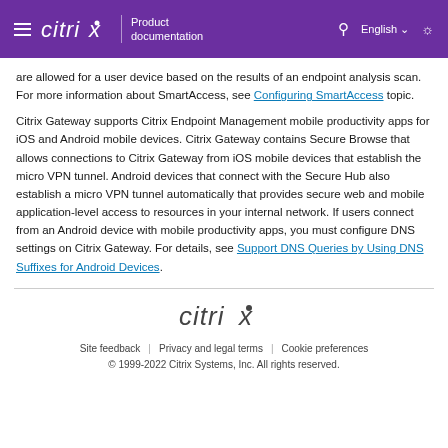Citrix — Product documentation | English
are allowed for a user device based on the results of an endpoint analysis scan. For more information about SmartAccess, see Configuring SmartAccess topic.
Citrix Gateway supports Citrix Endpoint Management mobile productivity apps for iOS and Android mobile devices. Citrix Gateway contains Secure Browse that allows connections to Citrix Gateway from iOS mobile devices that establish the micro VPN tunnel. Android devices that connect with the Secure Hub also establish a micro VPN tunnel automatically that provides secure web and mobile application-level access to resources in your internal network. If users connect from an Android device with mobile productivity apps, you must configure DNS settings on Citrix Gateway. For details, see Support DNS Queries by Using DNS Suffixes for Android Devices.
Site feedback | Privacy and legal terms | Cookie preferences
© 1999-2022 Citrix Systems, Inc. All rights reserved.